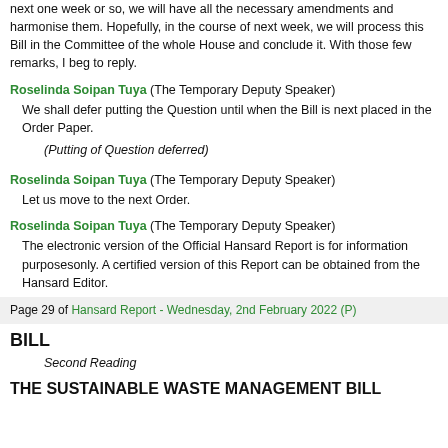next one week or so, we will have all the necessary amendments and harmonise them. Hopefully, in the course of next week, we will process this Bill in the Committee of the whole House and conclude it. With those few remarks, I beg to reply.
Roselinda Soipan Tuya (The Temporary Deputy Speaker) We shall defer putting the Question until when the Bill is next placed in the Order Paper.
(Putting of Question deferred)
Roselinda Soipan Tuya (The Temporary Deputy Speaker) Let us move to the next Order.
Roselinda Soipan Tuya (The Temporary Deputy Speaker) The electronic version of the Official Hansard Report is for information purposesonly. A certified version of this Report can be obtained from the Hansard Editor.
Page 29 of Hansard Report - Wednesday, 2nd February 2022 (P)
BILL
Second Reading
THE SUSTAINABLE WASTE MANAGEMENT BILL